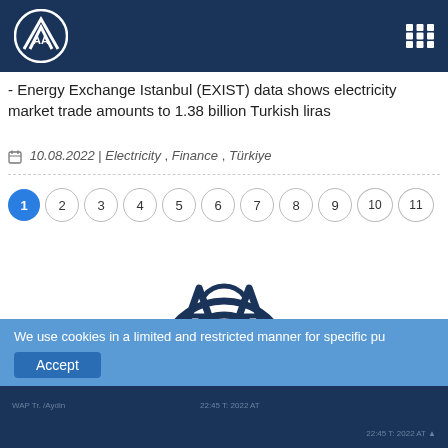AA Logo and grid navigation icon on dark navy header bar
- Energy Exchange Istanbul (EXIST) data shows electricity market trade amounts to 1.38 billion Turkish liras
10.08.2022 | Electricity , Finance , Türkiye
Pagination: 1 (active) 2 3 4 5 6 7 8 9 10 11
[Figure (logo): Anadolu Agency logo — large AA circular emblem above text ANADOLU AGENCY in dark navy]
Footer with dark background, ANADOLU AGENCY MARKET and ELECTRICITY MARKET REPORT text, social links
We use cookies in a limited and restricted manner for specific pu[rposes]
Accept